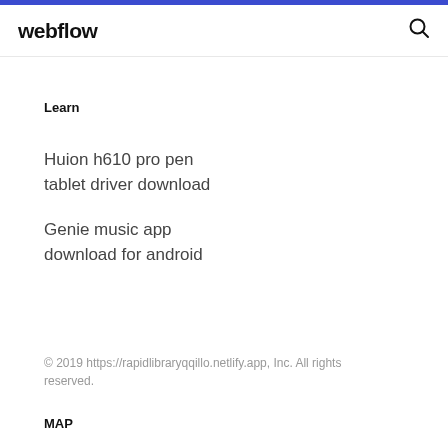webflow
Learn
Huion h610 pro pen tablet driver download
Genie music app download for android
© 2019 https://rapidlibraryqqillo.netlify.app, Inc. All rights reserved.
MAP